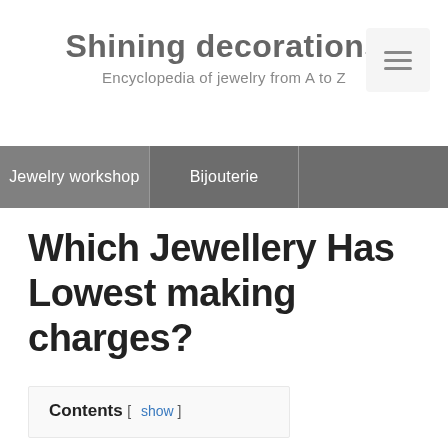Shining decorations
Encyclopedia of jewelry from A to Z
Jewelry workshop | Bijouterie
Which Jewellery Has Lowest making charges?
Contents [ show ]